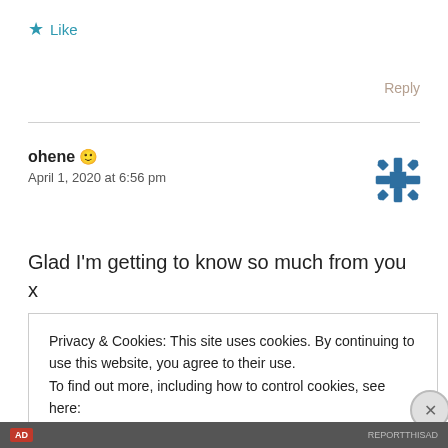★ Like
Reply
ohene 🙂
April 1, 2020 at 6:56 pm
[Figure (illustration): Blue decorative snowflake/geometric avatar icon in top right of comment]
Glad I'm getting to know so much from you x
Privacy & Cookies: This site uses cookies. By continuing to use this website, you agree to their use.
To find out more, including how to control cookies, see here:
Cookie Policy
Close and accept